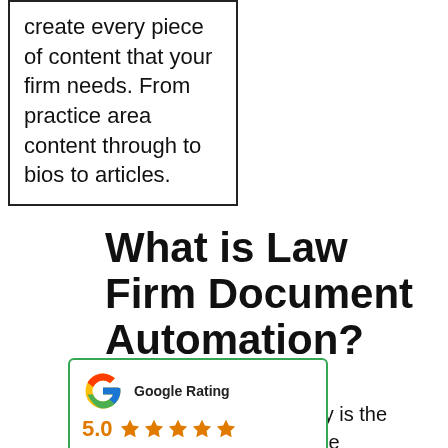create every piece of content that your firm needs. From practice area content through to bios to articles.
What is Law Firm Document Automation?
[Figure (infographic): Google Rating widget showing 5.0 rating with five orange stars and the Google 'G' logo in red, yellow, green and blue colors, with a green border.]
changing rapidly. Not only is the landscape becoming more competitive, but legal